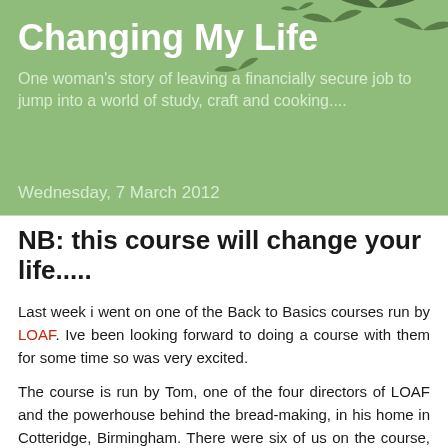Changing My Life
One woman's story of leaving a financially secure job to jump into a world of study, craft and cooking....
Wednesday, 7 March 2012
NB: this course will change your life.....
Last week i went on one of the Back to Basics courses run by LOAF. Ive been looking forward to doing a course with them for some time so was very excited.
The course is run by Tom, one of the four directors of LOAF and the powerhouse behind the bread-making, in his home in Cotteridge, Birmingham. There were six of us on the course, none of us knew each other but a shared passion for wanting to make good bread soon got us chatting. The day started in a very civilised manner over the breakfast table